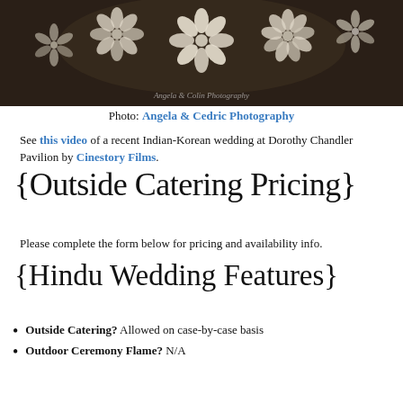[Figure (photo): Dark sepia-toned photograph of white paper flower decorations with a watermark reading 'Angela & Colin Photography']
Photo: Angela & Cedric Photography
See this video of a recent Indian-Korean wedding at Dorothy Chandler Pavilion by Cinestory Films.
{Outside Catering Pricing}
Please complete the form below for pricing and availability info.
{Hindu Wedding Features}
Outside Catering? Allowed on case-by-case basis
Outdoor Ceremony Flame? N/A